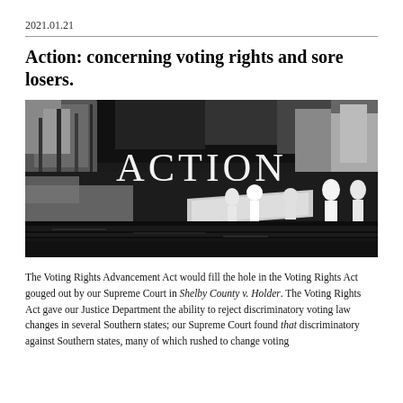2021.01.21
Action: concerning voting rights and sore losers.
[Figure (illustration): Grayscale stylized illustration of a park or riverside scene with several figures, trees in background, water in foreground. Large white text 'ACTION' overlaid in center.]
The Voting Rights Advancement Act would fill the hole in the Voting Rights Act gouged out by our Supreme Court in Shelby County v. Holder. The Voting Rights Act gave our Justice Department the ability to reject discriminatory voting law changes in several Southern states; our Supreme Court found that discriminatory against Southern states, many of which rushed to change voting